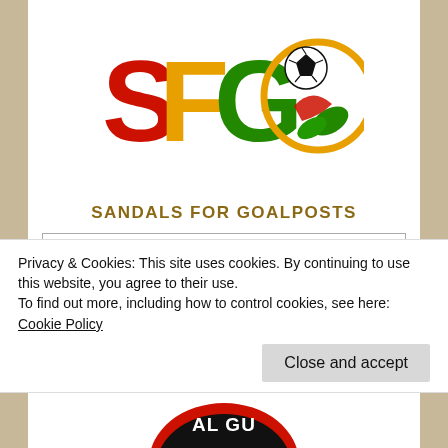[Figure (logo): SFGO logo — large colorful letters S, F, G in red/yellow/green with a circular emblem on the right containing a soccer ball and sandal/leaf motifs in red and green on yellow/orange circle]
SANDALS FOR GOALPOSTS
Navigation
AFCON 2015 Guinea 1-1 Cote
Privacy & Cookies: This site uses cookies. By continuing to use this website, you agree to their use.
To find out more, including how to control cookies, see here: Cookie Policy
Close and accept